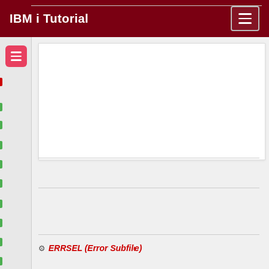IBM i Tutorial
[Figure (screenshot): Advertisement/content placeholder area with white background and light border]
Previous
Next
ERRSEL (Error Subfile)